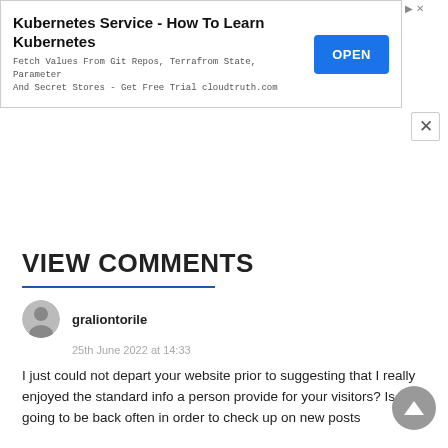[Figure (screenshot): Advertisement banner for Kubernetes Service / cloudtruth.com with OPEN button]
VIEW COMMENTS
graliontorile
25th June 2022 at 14:33
I just could not depart your website prior to suggesting that I really enjoyed the standard info a person provide for your visitors? Is going to be back often in order to check up on new posts